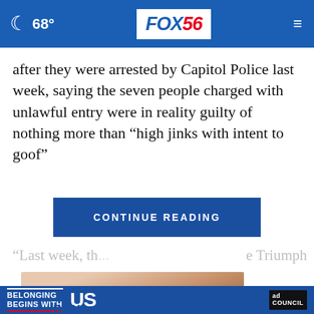FOX56  68°
after they were arrested by Capitol Police last week, saying the seven people charged with unlawful entry were in reality guilty of nothing more than “high jinks with intent to goof”
CONTINUE READING
“Last week, th...                        ...e Triumph
[Figure (photo): Close-up photo of a hand scratching skin, with a mole visible, on a light purple background. Partially shown.]
[Figure (photo): Ad banner: BELONGING BEGINS WITH US, Ad Council logo]
Do You Know What Plaque Psoriasis